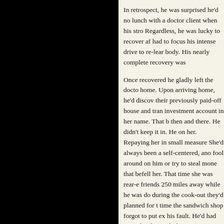In retrospect, he was surprised he'd no lunch with a doctor client when his stro Regardless, he was lucky to recover af had to focus his intense drive to re-lear body. His nearly complete recovery was Once recovered he gladly left the docto home. Upon arriving home, he'd discov their previously paid-off house and tran investment account in her name. That b then and there. He didn't keep it in. He on her. Repaying her in small measure She'd always been a self-centered, ano fool around on him or try to steal mone that befell her. That time she was rear-e friends 250 miles away while he was do during the cook-out they'd planned for t time the sandwich shop forgot to put ex his fault. He'd had enough. That night h The divorce went more smoothly than e and lined up the most impressive array painful for her as it was quick for him. T mortgage she'd taken out, and he got m She got a single lump-sum payment. S nicest things from the house, he gave t money to store them until she got anoth